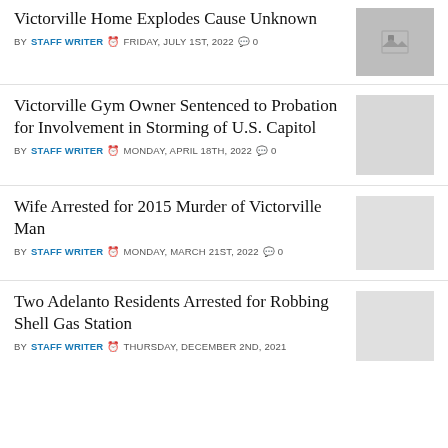Victorville Home Explodes Cause Unknown
BY STAFF WRITER  FRIDAY, JULY 1ST, 2022  0
Victorville Gym Owner Sentenced to Probation for Involvement in Storming of U.S. Capitol
BY STAFF WRITER  MONDAY, APRIL 18TH, 2022  0
Wife Arrested for 2015 Murder of Victorville Man
BY STAFF WRITER  MONDAY, MARCH 21ST, 2022  0
Two Adelanto Residents Arrested for Robbing Shell Gas Station
BY STAFF WRITER  THURSDAY, DECEMBER 2ND, 2021